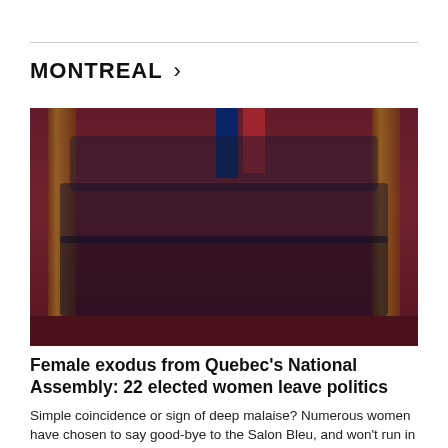MONTREAL >
[Figure (photo): Group photo of Quebec's National Assembly cabinet members posed in a formal red-decorated chamber with Quebec and Canadian flags in the background. Approximately 25 politicians arranged in three rows, with some seated in red chairs in the front row.]
Female exodus from Quebec's National Assembly: 22 elected women leave politics
Simple coincidence or sign of deep malaise? Numerous women have chosen to say good-bye to the Salon Bleu, and won't run in the upcoming provincial election.